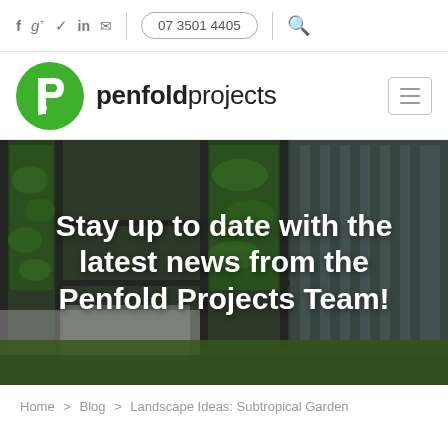f g+ twitter in mail | 07 3501 4405 | search
[Figure (logo): Penfold Projects logo — green circular P icon with brand name 'penfold projects' in bold/light weight]
[Figure (photo): Hero banner showing a modern building exterior with lush green vertical garden walls, glass facade, and green lawn area]
Stay up to date with the latest news from the Penfold Projects Team!
Home > Blog > Landscape Ideas: Subtropical Garden